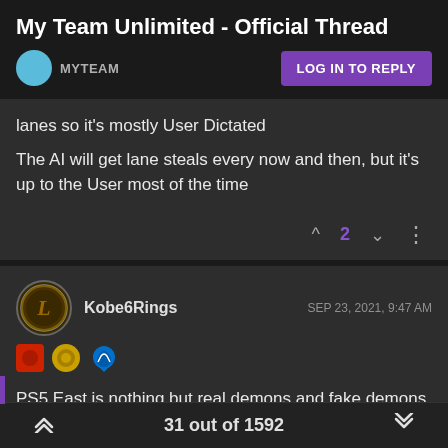My Team Unlimited - Official Thread
MYTEAM
LOG IN TO REPLY
lanes so it's mostly User Dictated
The AI will get lane steals every now and then, but it's up to the User most of the time
2
Kobe6Rings
SEP 23, 2021, 9:47 AM
PS5 East is nothing but real demons and fake demons. I can't wait until the Friday drop. I'm finally badging my guys
31 out of 1592